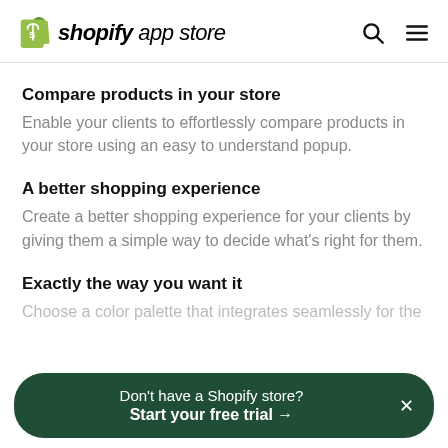shopify app store
Compare products in your store
Enable your clients to effortlessly compare products in your store using an easy to understand popup.
A better shopping experience
Create a better shopping experience for your clients by giving them a simple way to decide what's right for them.
Exactly the way you want it
Don't have a Shopify store? Start your free trial →